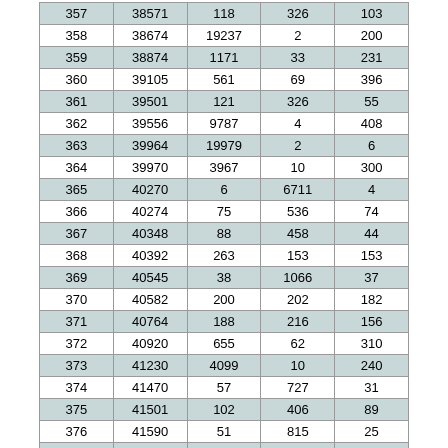| 357 | 38571 | 118 | 326 | 103 |
| 358 | 38674 | 19237 | 2 | 200 |
| 359 | 38874 | 1171 | 33 | 231 |
| 360 | 39105 | 561 | 69 | 396 |
| 361 | 39501 | 121 | 326 | 55 |
| 362 | 39556 | 9787 | 4 | 408 |
| 363 | 39964 | 19979 | 2 | 6 |
| 364 | 39970 | 3967 | 10 | 300 |
| 365 | 40270 | 6 | 6711 | 4 |
| 366 | 40274 | 75 | 536 | 74 |
| 367 | 40348 | 88 | 458 | 44 |
| 368 | 40392 | 263 | 153 | 153 |
| 369 | 40545 | 38 | 1066 | 37 |
| 370 | 40582 | 200 | 202 | 182 |
| 371 | 40764 | 188 | 216 | 156 |
| 372 | 40920 | 655 | 62 | 310 |
| 373 | 41230 | 4099 | 10 | 240 |
| 374 | 41470 | 57 | 727 | 31 |
| 375 | 41501 | 102 | 406 | 89 |
| 376 | 41590 | 51 | 815 | 25 |
| 377 | 41615 | 78 | 533 | 41 |
| 378 | 41650 | 5107 | 2 | 280 |